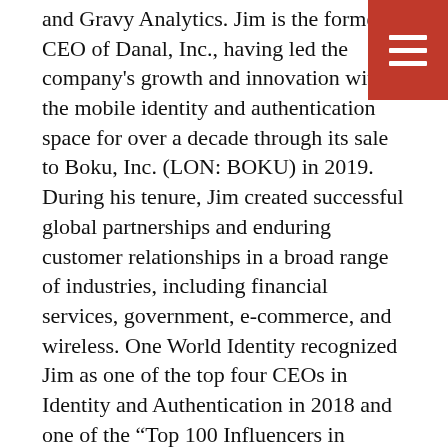and Gravy Analytics. Jim is the former CEO of Danal, Inc., having led the company's growth and innovation within the mobile identity and authentication space for over a decade through its sale to Boku, Inc. (LON: BOKU) in 2019. During his tenure, Jim created successful global partnerships and enduring customer relationships in a broad range of industries, including financial services, government, e-commerce, and wireless. One World Identity recognized Jim as one of the top four CEOs in Identity and Authentication in 2018 and one of the “Top 100 Influencers in Identity” in 2019.
Prior to Danal, Jim was CEO and President at ACE*COMM Corporation focusing on Telecom OSS/BSS software. Prior to ACE*COMM, Jim was the COO/SVP of Sales Americas and Asia Pacific at